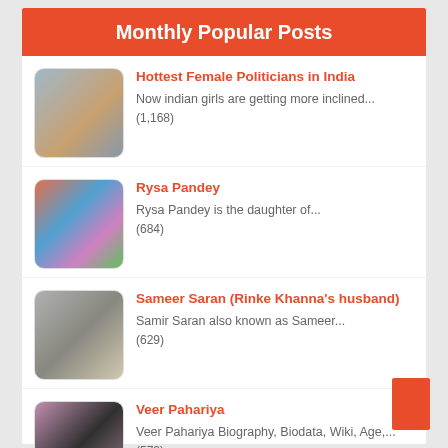Monthly Popular Posts
Hottest Female Politicians in India — Now indian girls are getting more inclined… (1,168)
Rysa Pandey — Rysa Pandey is the daughter of… (684)
Sameer Saran (Rinke Khanna's husband) — Samir Saran also known as Sameer… (629)
Veer Pahariya — Veer Pahariya Biography, Biodata, Wiki, Age,… (570)